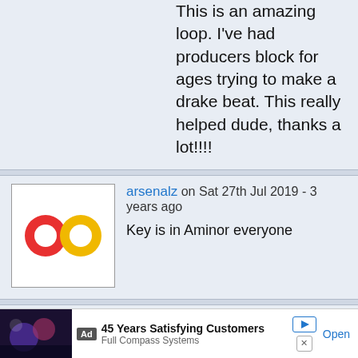This is an amazing loop. I've had producers block for ages trying to make a drake beat. This really helped dude, thanks a lot!!!!
arsenalz on Sat 27th Jul 2019 - 3 years ago
Key is in Aminor everyone
fabyan33 on Sat 27th Jul 2019 - 3 years ago
https://soundcloud.com/user-847266769/caller-prod-felix-cortez
check this out
Jodeny17 on Sat 27th Jul 2019 - 3 years ago
https://www.youtube.com/watch?
Ad 45 Years Satisfying Customers Full Compass Systems Open